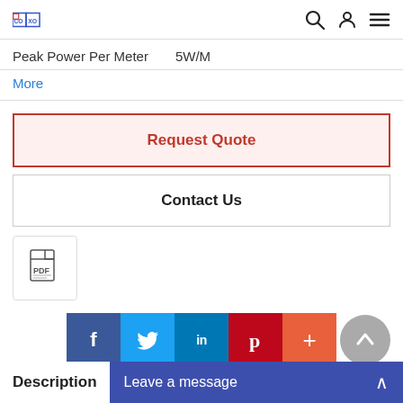COXO — navigation bar with search, account, and menu icons
Peak Power Per Meter    5W/M
More
Request Quote
Contact Us
[Figure (other): PDF document icon button]
[Figure (infographic): Social share icons: Facebook, Twitter, LinkedIn, Pinterest, Plus; and a scroll-to-top button]
Description
Leave a message